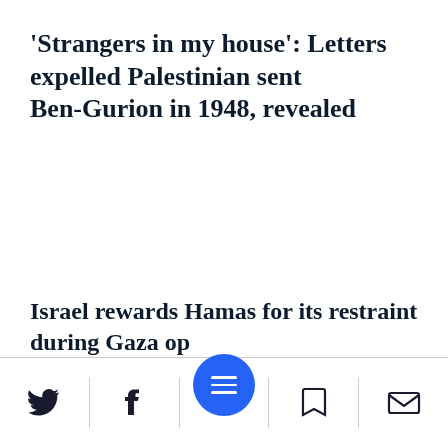'Strangers in my house': Letters expelled Palestinian sent Ben-Gurion in 1948, revealed
Israel rewards Hamas for its restraint during Gaza op
[Figure (infographic): Mobile app toolbar with Twitter, Facebook, hamburger menu (blue circle), bookmark, and email icons]